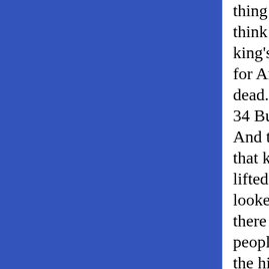thing to his heart, to think that all the king's sons are dead: for Amnon only is dead. 34 But Absalom fled. And the young man that kept the watch lifted up his eyes, and looked, and, behold, there came much people by the way of the hill side behind him. 35 And Jonadab said unto the king, Behold, the king's sons come: as thy servant said, so it is. 36 And it came to pass, as soon as he had made an end of speaking, that, behold, the